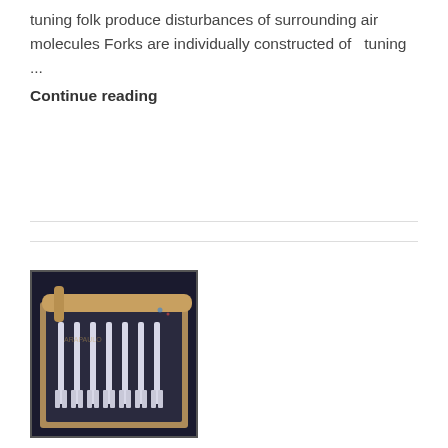tuning folk produce disturbances of surrounding air molecules Forks are individually constructed of   tuning ...
Continue reading
[Figure (photo): A set of tuning forks arranged in a wooden tray/box on a dark blue background, with a cylindrical mallet or activator resting across the top.]